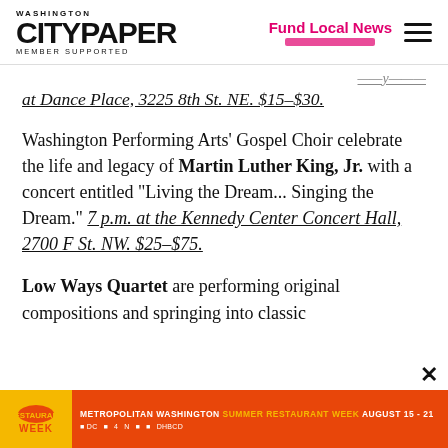Washington City Paper — Member Supported | Fund Local News
at Dance Place, 3225 8th St. NE. $15–$30.
Washington Performing Arts' Gospel Choir celebrate the life and legacy of Martin Luther King, Jr. with a concert entitled "Living the Dream... Singing the Dream." 7 p.m. at the Kennedy Center Concert Hall, 2700 F St. NW. $25–$75.
Low Ways Quartet are performing original compositions and springing into classic
[Figure (infographic): Metropolitan Washington Summer Restaurant Week advertisement banner, August 15-21, with partner logos including DC, 4, N, and others on an orange background.]